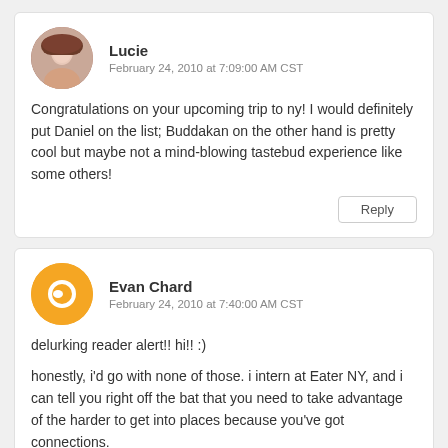[Figure (photo): Circular avatar photo of Lucie]
Lucie
February 24, 2010 at 7:09:00 AM CST
Congratulations on your upcoming trip to ny! I would definitely put Daniel on the list; Buddakan on the other hand is pretty cool but maybe not a mind-blowing tastebud experience like some others!
Reply
[Figure (logo): Circular orange Blogger avatar icon for Evan Chard]
Evan Chard
February 24, 2010 at 7:40:00 AM CST
delurking reader alert!! hi!! :)
honestly, i'd go with none of those. i intern at Eater NY, and i can tell you right off the bat that you need to take advantage of the harder to get into places because you've got connections.
except for Babbo. Babbo is great.